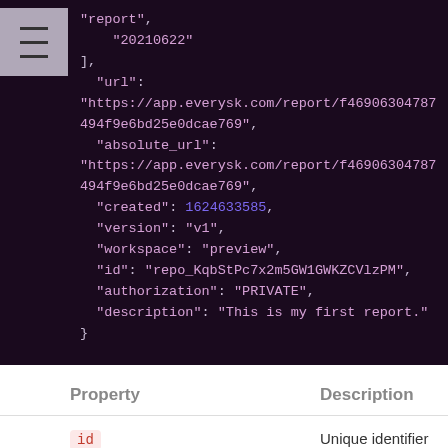[Figure (screenshot): Dark-themed JSON code block showing API response fields: url, absolute_url, created, version, workspace, id, authorization, description]
| Property | Description |
| --- | --- |
| id | Unique identifier (UID) for the report. |
| string |  |